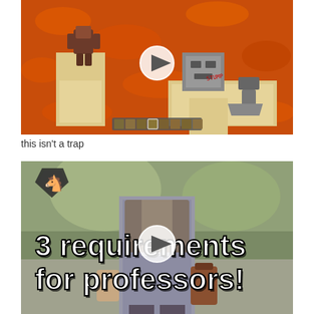[Figure (screenshot): Minecraft game screenshot showing two pillars with a dispenser/crafter on a lava background, with a hotbar visible at the bottom. A circular play button overlay is in the center.]
this isn't a trap
[Figure (screenshot): Video thumbnail showing a person in academic robes holding a briefcase, with bold white text reading '3 requirements for professors!' and a horse logo in the top-left corner. A circular play button overlay is in the center.]